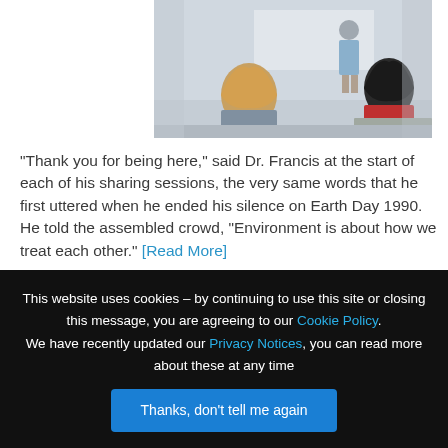[Figure (photo): Classroom scene with students seated at desks with their backs to the viewer, and a teacher standing at the front near a whiteboard.]
“Thank you for being here,” said Dr. Francis at the start of each of his sharing sessions, the very same words that he first uttered when he ended his silence on Earth Day 1990. He told the assembled crowd, “Environment is about how we treat each other.” [Read More]
28 University of Cali...
This website uses cookies – by continuing to use this site or closing this message, you are agreeing to our Cookie Policy. We have recently updated our Privacy Notices, you can read more about these at any time